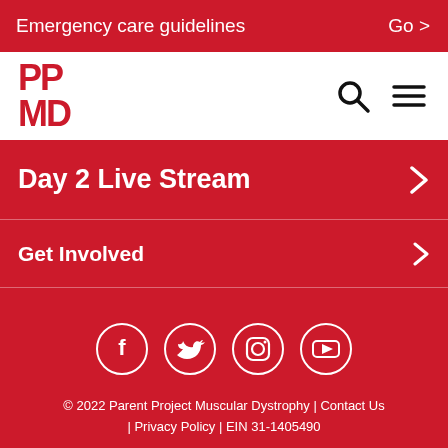Emergency care guidelines  Go >
[Figure (logo): PPMD logo — red block letters PP over MD]
Day 2 Live Stream >
Get Involved >
[Figure (infographic): Social media icons: Facebook, Twitter, Instagram, YouTube — white circles on red background]
© 2022 Parent Project Muscular Dystrophy | Contact Us | Privacy Policy | EIN 31-1405490